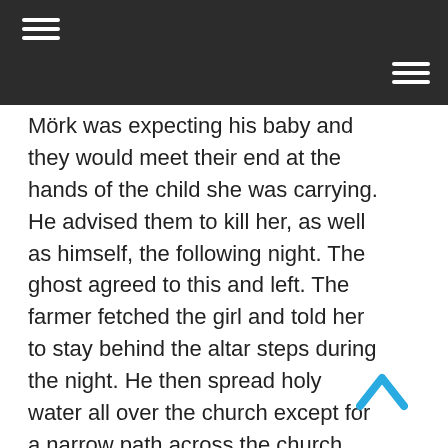Mörk was expecting his baby and they would meet their end at the hands of the child she was carrying. He advised them to kill her, as well as himself, the following night. The ghost agreed to this and left. The farmer fetched the girl and told her to stay behind the altar steps during the night. He then spread holy water all over the church except for a narrow path across the church floor. When the ghost appeared after nightfall, the farmer followed him across the